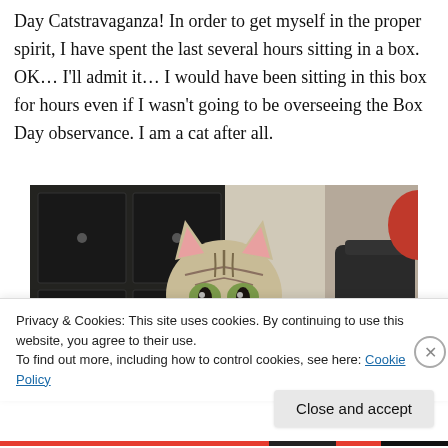Day Catstravaganza! In order to get myself in the proper spirit, I have spent the last several hours sitting in a box. OK… I'll admit it… I would have been sitting in this box for hours even if I wasn't going to be overseeing the Box Day observance. I am a cat after all.
[Figure (photo): A tabby cat sitting in a cardboard box, looking directly at the camera. In the background are dark wooden dresser drawers on the left and a room with a backpack and other items on the right.]
Privacy & Cookies: This site uses cookies. By continuing to use this website, you agree to their use.
To find out more, including how to control cookies, see here: Cookie Policy
Close and accept